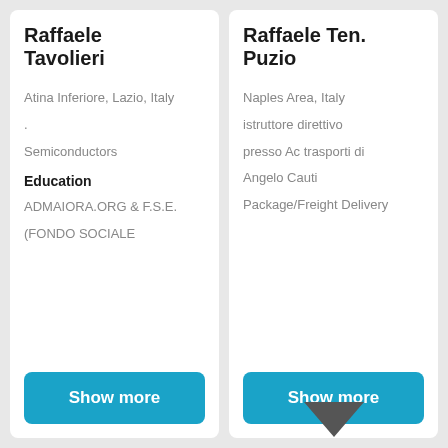Raffaele Tavolieri
Atina Inferiore, Lazio, Italy
.
Semiconductors
Education
ADMAIORA.ORG & F.S.E. (FONDO SOCIALE
Show more
Raffaele Ten. Puzio
Naples Area, Italy
istruttore direttivo
presso Ac trasporti di
Angelo Cauti
Package/Freight Delivery
Show more